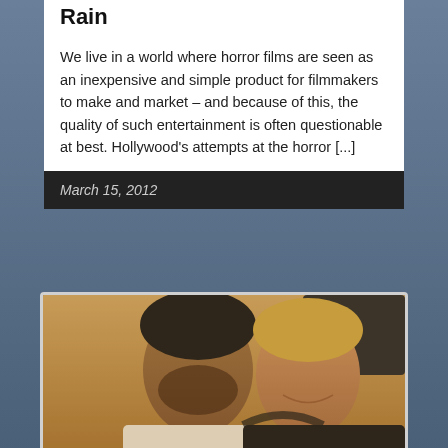Rain
We live in a world where horror films are seen as an inexpensive and simple product for filmmakers to make and market – and because of this, the quality of such entertainment is often questionable at best. Hollywood's attempts at the horror [...]
March 15, 2012
[Figure (photo): Two men posing together closely, one with dark hair and beard, one with lighter/blonde hair, outdoors with warm lighting]